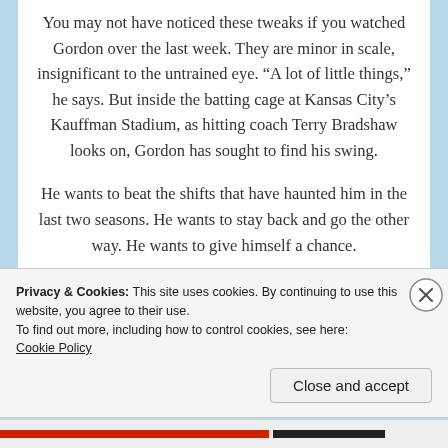You may not have noticed these tweaks if you watched Gordon over the last week. They are minor in scale, insignificant to the untrained eye. “A lot of little things,” he says. But inside the batting cage at Kansas City’s Kauffman Stadium, as hitting coach Terry Bradshaw looks on, Gordon has sought to find his swing.

He wants to beat the shifts that have haunted him in the last two seasons. He wants to stay back and go the other way. He wants to give himself a chance.

“I feel like my swing is a little bit different than it was at the beginning of the season.” Gordon
Privacy & Cookies: This site uses cookies. By continuing to use this website, you agree to their use.
To find out more, including how to control cookies, see here:
Cookie Policy
Close and accept